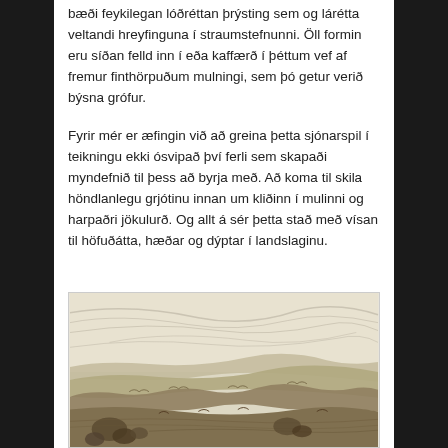bæði feykilegan lóðréttan þrýsting sem og lárétta veltandi hreyfinguna í straumstefnunni. Öll formin eru síðan felld inn í eða kaffærð í þéttum vef af fremur finthörpuðum mulningi, sem þó getur verið býsna grófur.
Fyrir mér er æfingin við að greina þetta sjónarspil í teikningu ekki ósvipað því ferli sem skapaði myndefnið til þess að byrja með. Að koma til skila höndlanlegu grjótinu innan um kliðinn í mulinni og harpaðri jökulurð. Og allt á sér þetta stað með vísan til höfuðátta, hæðar og dýptar í landslaginu.
[Figure (illustration): Pencil sketch of an Icelandic landscape showing rocky terrain with mountains in the background and a dramatic cloudy sky. The foreground features rocks and rough ground, with layered hills and ridges in the middle distance.]